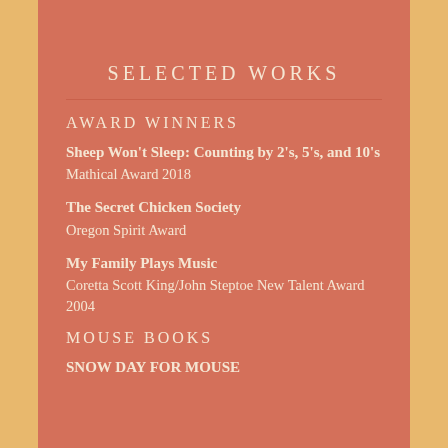SELECTED WORKS
AWARD WINNERS
Sheep Won't Sleep: Counting by 2's, 5's, and 10's
Mathical Award 2018
The Secret Chicken Society
Oregon Spirit Award
My Family Plays Music
Coretta Scott King/John Steptoe New Talent Award 2004
MOUSE BOOKS
SNOW DAY FOR MOUSE